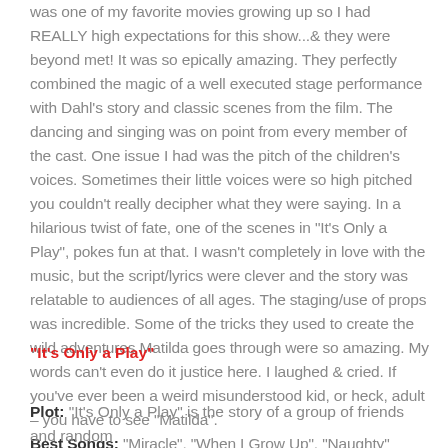was one of my favorite movies growing up so I had REALLY high expectations for this show...& they were beyond met! It was so epically amazing. They perfectly combined the magic of a well executed stage performance with Dahl's story and classic scenes from the film. The dancing and singing was on point from every member of the cast. One issue I had was the pitch of the children's voices. Sometimes their little voices were so high pitched you couldn't really decipher what they were saying. In a hilarious twist of fate, one of the scenes in "It's Only a Play", pokes fun at that. I wasn't completely in love with the music, but the script/lyrics were clever and the story was relatable to audiences of all ages. The staging/use of props was incredible. Some of the tricks they used to create the wild adventures Matilda goes through were so amazing. My words can't even do it justice here. I laughed & cried. If you've ever been a weird misunderstood kid, or heck, adult – you have to see "Matilda". Best Songs: "Miracle", "When I Grow Up", "Naughty"
"It's Only a Play"
Plot: "It's Only a Play" is the story of a group of friends and random